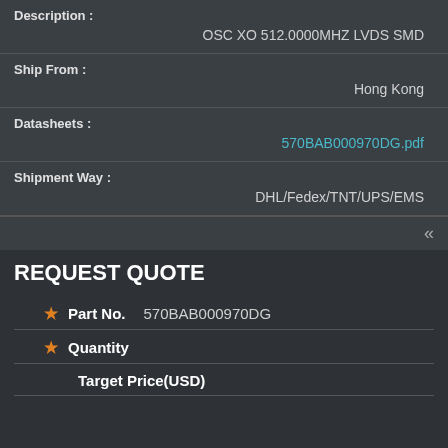Description :
OSC XO 512.0000MHZ LVDS SMD
Ship From :
Hong Kong
Datasheets :
570BAB000970DG.pdf
Shipment Way :
DHL/Fedex/TNT/UPS/EMS
REQUEST QUOTE
Part No.  570BAB000970DG
Quantity
Target Price(USD)